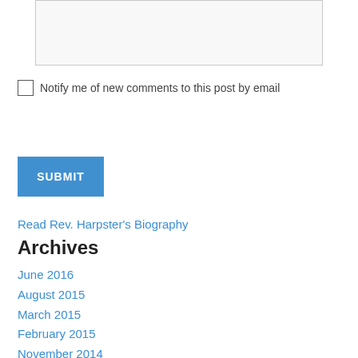[textarea]
Notify me of new comments to this post by email
SUBMIT
Read Rev. Harpster's Biography
Archives
June 2016
August 2015
March 2015
February 2015
November 2014
October 2013
September 2013
August 2013